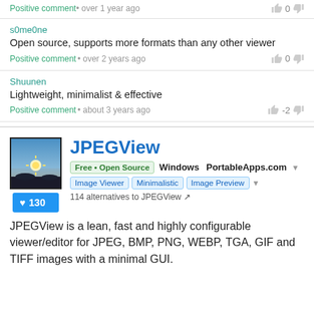Positive comment • over 1 year ago
s0me0ne
Open source, supports more formats than any other viewer
Positive comment • over 2 years ago
Shuunen
Lightweight, minimalist & effective
Positive comment • about 3 years ago
JPEGView
Free • Open Source  Windows  PortableApps.com
Image Viewer  Minimalistic  Image Preview
114 alternatives to JPEGView
JPEGView is a lean, fast and highly configurable viewer/editor for JPEG, BMP, PNG, WEBP, TGA, GIF and TIFF images with a minimal GUI.